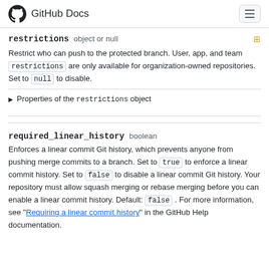GitHub Docs
restrictions   object or null
Restrict who can push to the protected branch. User, app, and team restrictions are only available for organization-owned repositories. Set to null to disable.
▶ Properties of the restrictions object
required_linear_history   boolean
Enforces a linear commit Git history, which prevents anyone from pushing merge commits to a branch. Set to true to enforce a linear commit history. Set to false to disable a linear commit Git history. Your repository must allow squash merging or rebase merging before you can enable a linear commit history. Default: false . For more information, see "Requiring a linear commit history" in the GitHub Help documentation.